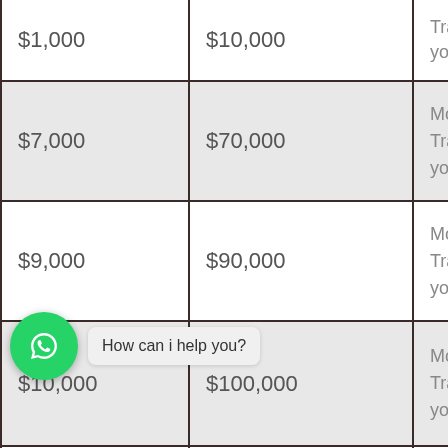| Amount | Payout | Result |
| --- | --- | --- |
| $1,000 | $10,000 | Money Transferred to your Account |
| $7,000 | $70,000 | Money Transferred to your Account |
| $9,000 | $90,000 | Money Transferred to your Account |
| $10,000 | $100,000 | Money Transferred to your Account |
| $... | ... | Money Transferred to your Account |
| ... | ... | ... |